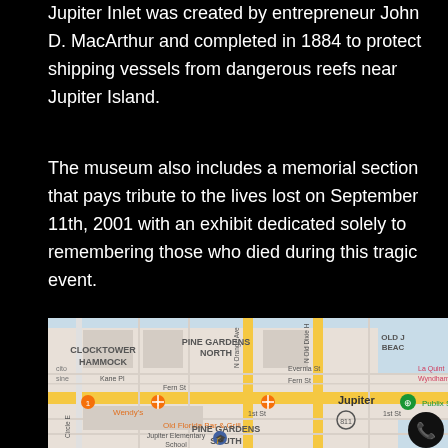Jupiter Inlet was created by entrepreneur John D. MacArthur and completed in 1884 to protect shipping vessels from dangerous reefs near Jupiter Island.
The museum also includes a memorial section that pays tribute to the lives lost on September 11th, 2001 with an exhibit dedicated solely to remembering those who died during this tragic event.
[Figure (map): Google Maps screenshot showing Jupiter, Florida area with neighborhoods CLOCKTOWER HAMMOCK, PINE GARDENS NORTH, PINE GARDENS SOUTH, OLD J BEACH, streets including Evernia St, Fern St, Kane Pl, 1st St, N Orange Ave, N Old Dixie Hwy, Circle E; landmarks including Wendy's, Old Florida Bar & Grill, Jupiter Elementary School, La Quinta Wyndham, Publix; road 811 marked; Jupiter label visible; phone call button in bottom-right corner.]